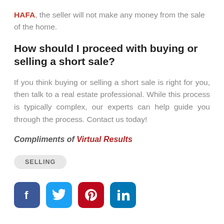HAFA, the seller will not make any money from the sale of the home.
How should I proceed with buying or selling a short sale?
If you think buying or selling a short sale is right for you, then talk to a real estate professional. While this process is typically complex, our experts can help guide you through the process. Contact us today!
Compliments of Virtual Results
SELLING
[Figure (other): Social media icons: Facebook, Twitter, Pinterest, LinkedIn]